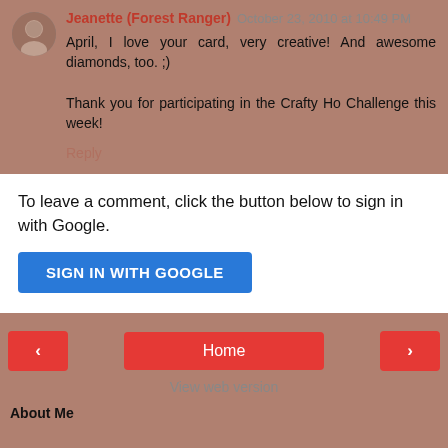[Figure (photo): Small circular avatar photo of a person]
Jeanette (Forest Ranger)  October 23, 2010 at 10:49 PM
April, I love your card, very creative! And awesome diamonds, too. ;)

Thank you for participating in the Crafty Ho Challenge this week!
Reply
To leave a comment, click the button below to sign in with Google.
SIGN IN WITH GOOGLE
‹
Home
›
View web version
About Me